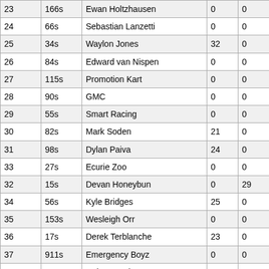| 23 | 166s | Ewan Holtzhausen | 0 | 0 |
| 24 | 66s | Sebastian Lanzetti | 0 | 0 |
| 25 | 34s | Waylon Jones | 32 | 0 |
| 26 | 84s | Edward van Nispen | 0 | 0 |
| 27 | 115s | Promotion Kart | 0 | 0 |
| 28 | 90s | GMC | 0 | 0 |
| 29 | 55s | Smart Racing | 0 | 0 |
| 30 | 82s | Mark Soden | 21 | 0 |
| 31 | 98s | Dylan Paiva | 24 | 0 |
| 33 | 27s | Ecurie Zoo | 0 | 0 |
| 32 | 15s | Devan Honeybun | 0 | 29 |
| 34 | 56s | Kyle Bridges | 25 | 0 |
| 35 | 153s | Wesleigh Orr | 0 | 0 |
| 36 | 17s | Derek Terblanche | 23 | 0 |
| 37 | 911s | Emergency Boyz | 0 | 0 |
| 38 | 69s | Robert Wark | 22 | 0 |
| 39 | 170s | Cameron Paiva | 0 | 0 |
| 40 | 35s | Nico Willems | 17 | 0 |